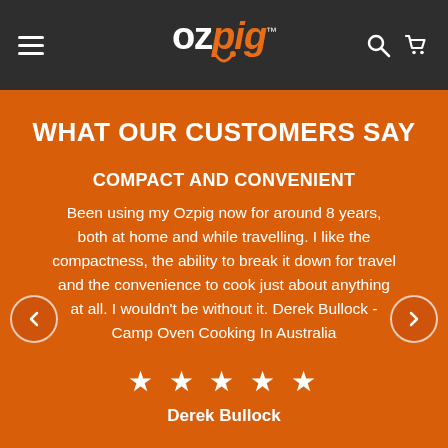OZpig navigation header
WHAT OUR CUSTOMERS SAY
COMPACT AND CONVENIENT
Been using my Ozpig now for around 8 years, both at home and while travelling. I like the compactness, the ability to break it down for travel and the convenience to cook just about anything at all. I wouldn't be without it. Derek Bullock - Camp Oven Cooking In Australia
★ ★ ★ ★ ★
Derek Bullock